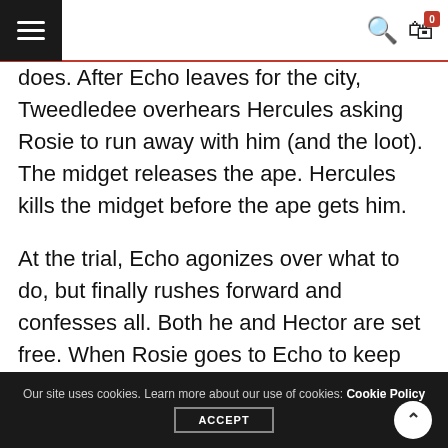Navigation bar with hamburger menu, search and cart icons
does. After Echo leaves for the city, Tweedledee overhears Hercules asking Rosie to run away with him (and the loot). The midget releases the ape. Hercules kills the midget before the ape gets him.
At the trial, Echo agonizes over what to do, but finally rushes forward and confesses all. Both he and Hector are set free. When Rosie goes to Echo to keep her promise, he lies and says he was only kidding. He tells her to go to Hector. Echo returns to the sideshow, giving
Our site uses cookies. Learn more about our use of cookies: Cookie Policy  ACCEPT